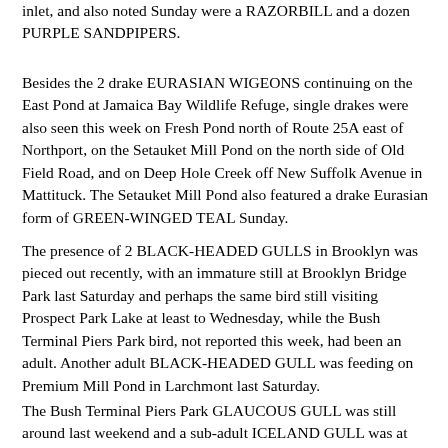inlet, and also noted Sunday were a RAZORBILL and a dozen PURPLE SANDPIPERS.
Besides the 2 drake EURASIAN WIGEONS continuing on the East Pond at Jamaica Bay Wildlife Refuge, single drakes were also seen this week on Fresh Pond north of Route 25A east of Northport, on the Setauket Mill Pond on the north side of Old Field Road, and on Deep Hole Creek off New Suffolk Avenue in Mattituck. The Setauket Mill Pond also featured a drake Eurasian form of GREEN-WINGED TEAL Sunday.
The presence of 2 BLACK-HEADED GULLS in Brooklyn was pieced out recently, with an immature still at Brooklyn Bridge Park last Saturday and perhaps the same bird still visiting Prospect Park Lake at least to Wednesday, while the Bush Terminal Piers Park bird, not reported this week, had been an adult. Another adult BLACK-HEADED GULL was feeding on Premium Mill Pond in Larchmont last Saturday.
The Bush Terminal Piers Park GLAUCOUS GULL was still around last weekend and a sub-adult ICELAND GULL was at East Tib... Saturday, with another at Mavis Island at b...